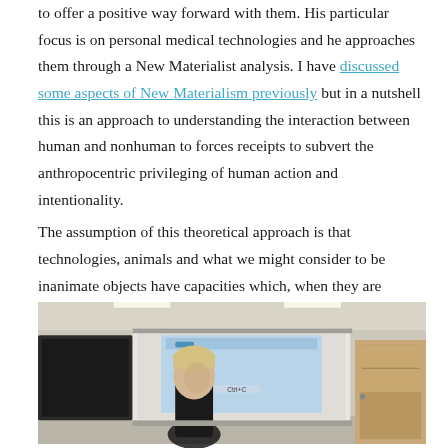to offer a positive way forward with them. His particular focus is on personal medical technologies and he approaches them through a New Materialist analysis. I have discussed some aspects of New Materialism previously but in a nutshell this is an approach to understanding the interaction between human and nonhuman to forces receipts to subvert the anthropocentric privileging of human action and intentionality.
The assumption of this theoretical approach is that technologies, animals and what we might consider to be inanimate objects have capacities which, when they are brought together in particular configurations, create new capacities. So, for instance an “assemblage” of human and mobile phone has different capacities to a human and landline phone.
[Figure (photo): A person with short blonde hair wearing a black top stands in front of a projection screen displaying a presentation slide in a classroom or meeting room setting.]